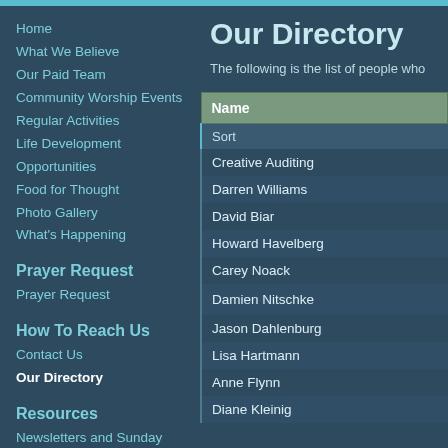Home
What We Believe
Our Paid Team
Community Worship Events
Regular Activities
Life Development
Opportunities
Food for Thought
Photo Gallery
What's Happening
Prayer Request
Prayer Request
How To Reach Us
Contact Us
Our Directory
Resources
Newsletters and Sunday Messages
Gully News n Views
Monthly Calendar of Events
Our Directory
The following is the list of people who
| Name |
| --- |
| Sort |
| Creative Auditing |
| Darren Williams |
| David Biar |
| Howard Havelberg |
| Carey Noack |
| Damien Nitschke |
| Jason Dahlenburg |
| Lisa Hartmann |
| Anne Flynn |
| Diane Kleinig |